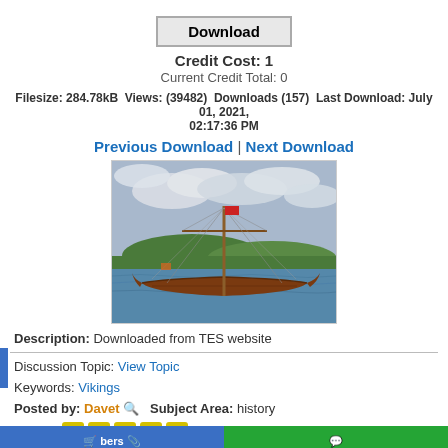Download
Credit Cost: 1
Current Credit Total: 0
Filesize: 284.78kB  Views: (39482)  Downloads (157)  Last Download: July 01, 2021, 02:17:36 PM
Previous Download | Next Download
[Figure (photo): A Viking longship sailing on water with a tall mast, rigging lines, and a small red flag. Green hills and cloudy sky in the background.]
Description: Downloaded from TES website
Discussion Topic: View Topic
Keywords: Vikings
Posted by: Davet 🔍  Subject Area: history
Rating: ⭐⭐⭐⭐⭐ by 1 members.